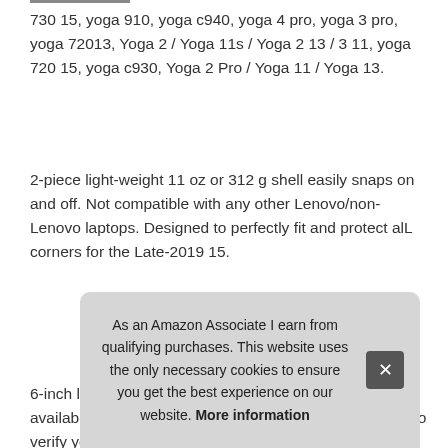730 15, yoga 910, yoga c940, yoga 4 pro, yoga 3 pro, yoga 72013, Yoga 2 / Yoga 11s / Yoga 2 13 / 3 11, yoga 720 15, yoga c930, Yoga 2 Pro / Yoga 11 / Yoga 13.
2-piece light-weight 11 oz or 312 g shell easily snaps on and off. Not compatible with any other Lenovo/non-Lenovo laptops. Designed to perfectly fit and protect alL corners for the Late-2019 15.
More information
6-inch lenovo yoga C740 15 laptop. Multiple colors available. Note: before placing order, please make sure to verify your lapt inte poly NEW arou
As an Amazon Associate I earn from qualifying purchases. This website uses the only necessary cookies to ensure you get the best experience on our website. More information